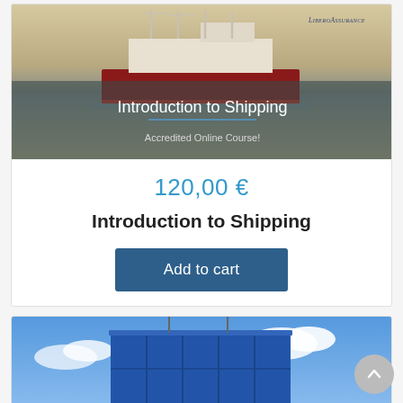[Figure (photo): Banner image of a cargo ship at sea with text 'Introduction to Shipping' and 'Accredited Online Course!' overlaid, plus a LiberoAssurance logo in top right.]
120,00 €
Introduction to Shipping
Add to cart
[Figure (photo): Photo of a blue shipping container being lifted against a blue sky with clouds.]